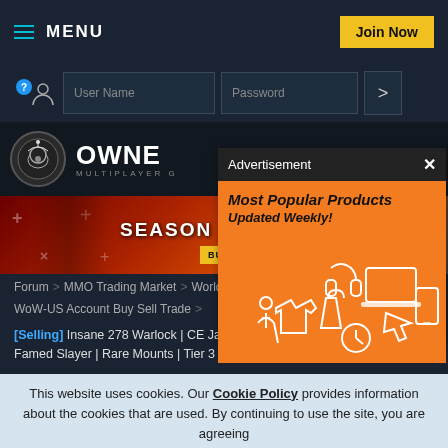MENU | Join Now
User Name | Password
[Figure (screenshot): Gaming website header with OWNE logo and MULTIPLAYER C subtitle]
[Figure (screenshot): Game banner: SEASON OF MAS with BUY FROM GA button on red/orange background]
[Figure (advertisement): Advertisement popup: Most Popular Products Updated Weekly! on orange background with shopping icons]
Forum > MMO Trading Market > World of
WoW-US Account Buy Sell Trade >
[Selling] Insane 278 Warlock | CE Jailer | Mage Tower Sets + Weapons | Famed Slayer | Rare Mounts | Tier 3
This website uses cookies. Our Cookie Policy provides information about the cookies that are used. By continuing to use the site, you are agreeing
[Figure (advertisement): Bottom ad: Brake Special Near You - Virginia Tire & Auto of Ashburn]